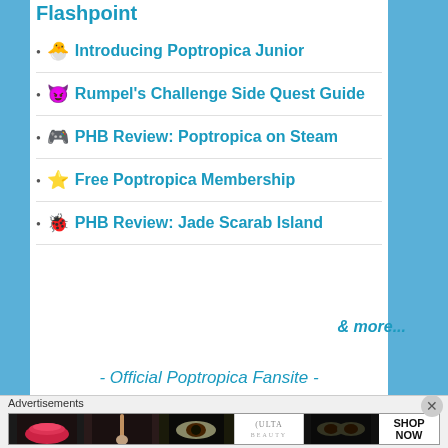Flashpoint
🐣 Introducing Poptropica Junior
😈 Rumpel's Challenge Side Quest Guide
🎮 PHB Review: Poptropica on Steam
⭐ Free Poptropica Membership
🐞 PHB Review: Jade Scarab Island
& more...
- Official Poptropica Fansite -
[Figure (illustration): Gold/yellow cartoon hat with orange accent, partially visible at bottom of page]
Advertisements
[Figure (screenshot): ULTA beauty advertisement banner with makeup/cosmetics images and SHOP NOW text]